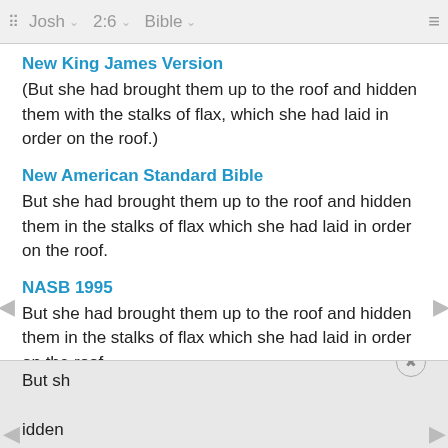Josh  2:6  Bible
New King James Version
(But she had brought them up to the roof and hidden them with the stalks of flax, which she had laid in order on the roof.)
New American Standard Bible
But she had brought them up to the roof and hidden them in the stalks of flax which she had laid in order on the roof.
NASB 1995
But she had brought them up to the roof and hidden them in the stalks of flax which she had laid in order on the roof.
NASB 1977
But sh… dden them… order